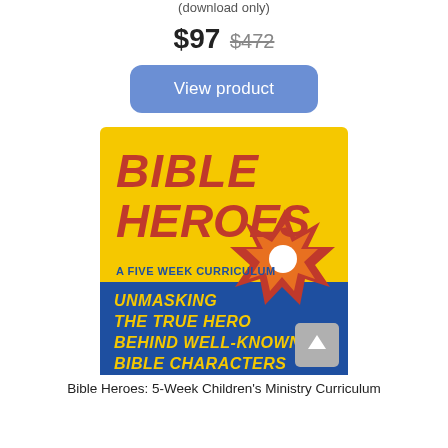(download only)
$97  $472
View product
[Figure (illustration): Bible Heroes: A Five Week Curriculum product cover image. Yellow background with bold red text 'BIBLE HEROES', subtitle 'A FIVE WEEK CURRICULUM', a comic-style starburst graphic, and blue lower section with yellow italic text 'UNMASKING THE TRUE HERO BEHIND WELL-KNOWN BIBLE CHARACTERS'.]
Bible Heroes: 5-Week Children's Ministry Curriculum